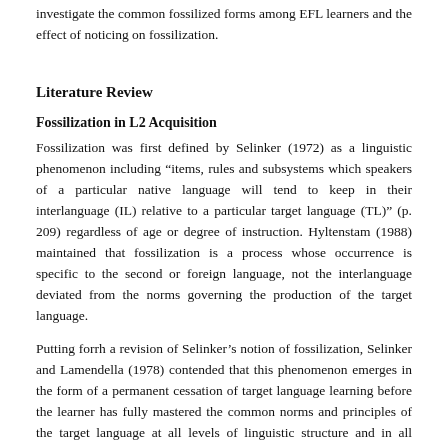investigate the common fossilized forms among EFL learners and the effect of noticing on fossilization.
Literature Review
Fossilization in L2 Acquisition
Fossilization was first defined by Selinker (1972) as a linguistic phenomenon including “items, rules and subsystems which speakers of a particular native language will tend to keep in their interlanguage (IL) relative to a particular target language (TL)” (p. 209) regardless of age or degree of instruction. Hyltenstam (1988) maintained that fossilization is a process whose occurrence is specific to the second or foreign language, not the interlanguage deviated from the norms governing the production of the target language.
Putting forrh a revision of Selinker’s notion of fossilization, Selinker and Lamendella (1978) contended that this phenomenon emerges in the form of a permanent cessation of target language learning before the learner has fully mastered the common norms and principles of the target language at all levels of linguistic structure and in all discourse scopes. Fossilization occurs